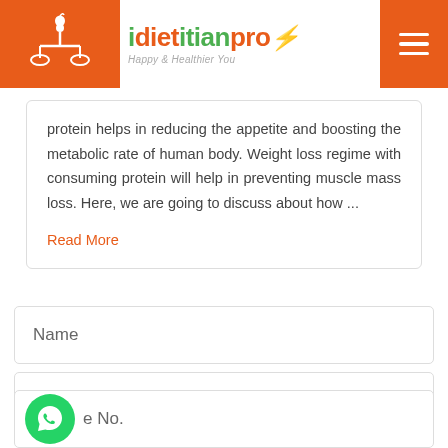idietitianpro – Happy & Healthier You
protein helps in reducing the appetite and boosting the metabolic rate of human body. Weight loss regime with consuming protein will help in preventing muscle mass loss. Here, we are going to discuss about how ...
Read More
Name
Email
e No.